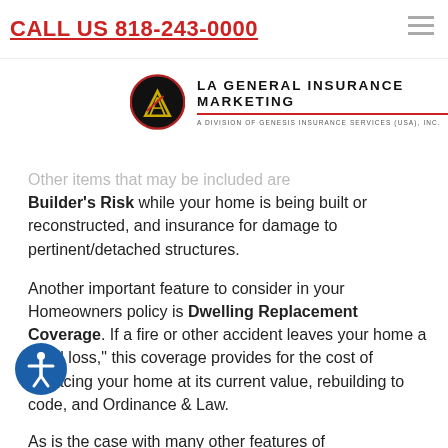CALL US 818-243-0000
[Figure (logo): LA General Insurance Marketing logo — circular black logo with gold/red LA triangle symbol, company name and tagline 'A Division of Genesis Insurance Services (USA), Inc.']
Other items that may be included are Builder's Risk while your home is being built or reconstructed, and insurance for damage to pertinent/detached structures.
Another important feature to consider in your Homeowners policy is Dwelling Replacement Coverage. If a fire or other accident leaves your home a "total loss," this coverage provides for the cost of replacing your home at its current value, rebuilding to code, and Ordinance & Law.
As is the case with many other features of